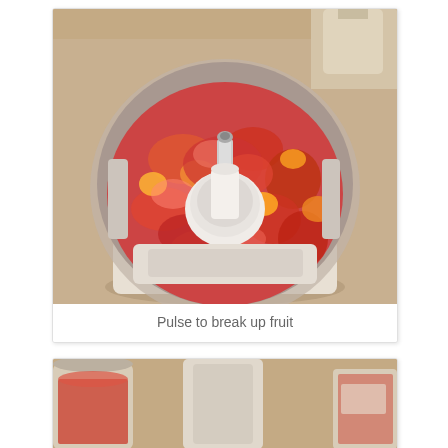[Figure (photo): Top-down view of a food processor bowl filled with chopped/pulsed red and orange fruit (strawberries and other fruit), with the central white blade assembly visible. The food processor sits on a beige/tan countertop. Another container is visible in the upper right corner.]
Pulse to break up fruit
[Figure (photo): Partial view of a food processor on a countertop, showing the base and bowl from a different angle, with some fruit visible inside.]